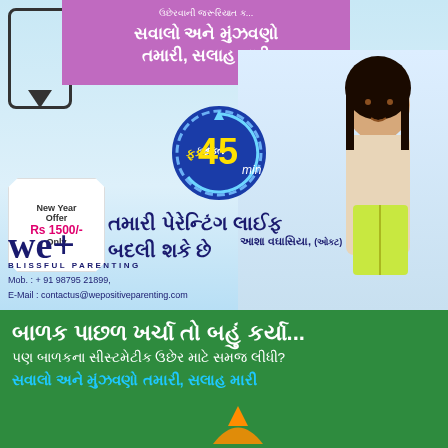[Figure (infographic): We+ Blissful Parenting advertisement with Gujarati text, woman photo, offer badge, 45-min circle, purple banner, and contact details]
સવાલો અને મુંઝવણો તમારી, સલાહ મારી
ફક્ત 45 min
New Year Offer Rs 1500/- Only
તમારી પેરેન્ટિંગ લાઈફ બદલી શકે છે
we+ BLISSFUL PARENTING
આશા વઘાસિયા, (ઓક્ટ)
Mob. : + 91 98795 21899, E-Mail : contactus@wepositiveparenting.com
બાળક પાછળ ખર્ચા તો બહું કર્યા...
પણ બાળકના સીસ્ટમેટીક ઉછેર માટે સમજ લીધી?
સવાલો અને મુંઝવણો તમારી, સલાહ મારી